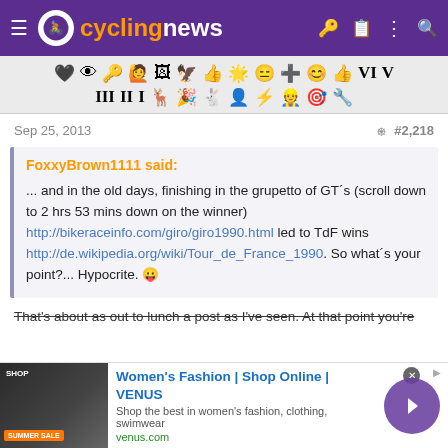cyclingnews
[Figure (screenshot): Emoji/icon toolbar with two rows of various emoji and Unicode icons used in forum posts]
Sep 25, 2013   < #2,218
FoxxyBrown1111 said:

... and in the old days, finishing in the grupetto of GT´s (scroll down to 2 hrs 53 mins down on the winner) http://bikeraceinfo.com/giro/giro1990.html led to TdF wins http://de.wikipedia.org/wiki/Tour_de_France_1990. So what´s your point?... Hypocrite. 😛
That's about as out to lunch a post as I've seen. At that point you're
[Figure (screenshot): Advertisement banner for VENUS women's fashion online shop]